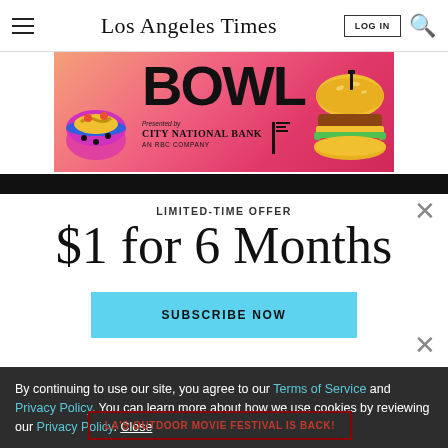Los Angeles Times
[Figure (illustration): LA Times Bowl advertisement banner with 'BOWL' text, City National Bank logo, illustrated food items (sushi/ramen bowl on left, hamburger on right), pink/red gradient background]
LIMITED-TIME OFFER
$1 for 6 Months
SUBSCRIBE NOW
By continuing to use our site, you agree to our Terms of Service and Privacy Policy. You can learn more about how we use cookies by reviewing our Privacy Policy. Close
LA'S OUTDOOR MOVIE FESTIVAL IS BACK!